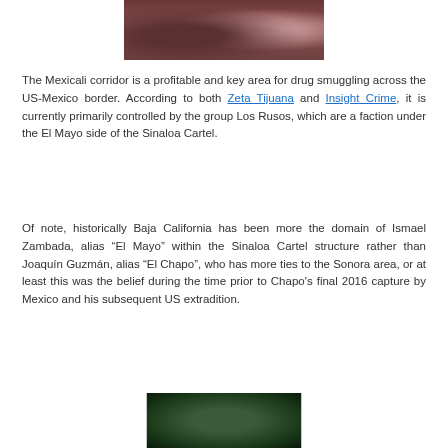[Figure (photo): Partial view of vintage cars, reddish/dark tinted photograph, cropped at top of page]
The Mexicali corridor is a profitable and key area for drug smuggling across the US-Mexico border. According to both Zeta Tijuana and Insight Crime, it is currently primarily controlled by the group Los Rusos, which are a faction under the El Mayo side of the Sinaloa Cartel.
Of note, historically Baja California has been more the domain of Ismael Zambada, alias “El Mayo” within the Sinaloa Cartel structure rather than Joaquín Guzmán, alias “El Chapo”, who has more ties to the Sonora area, or at least this was the belief during the time prior to Chapo's final 2016 capture by Mexico and his subsequent US extradition.
[Figure (photo): Partial green-tinted photograph, cropped at bottom of page]